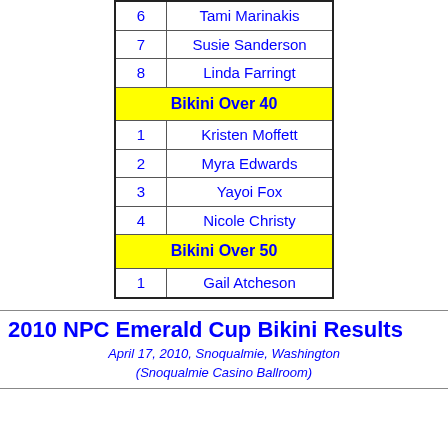| # | Name |
| --- | --- |
| 6 | Tami Marinakis |
| 7 | Susie Sanderson |
| 8 | Linda Farringt |
| Bikini Over 40 |  |
| 1 | Kristen Moffett |
| 2 | Myra Edwards |
| 3 | Yayoi Fox |
| 4 | Nicole Christy |
| Bikini Over 50 |  |
| 1 | Gail Atcheson |
2010 NPC Emerald Cup Bikini Results
April 17, 2010, Snoqualmie, Washington (Snoqualmie Casino Ballroom)